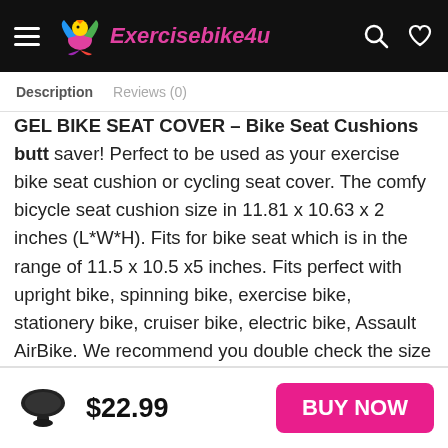Exercisebike4u — navigation bar with hamburger menu, logo, search and heart icons
Description   Reviews (0)
GEL BIKE SEAT COVER – Bike Seat Cushions  butt saver! Perfect to be used as your exercise bike seat cushion or cycling seat cover. The comfy bicycle seat cushion size in 11.81 x 10.63 x 2 inches (L*W*H). Fits for bike seat which is in the range of 11.5 x 10.5 x5 inches. Fits perfect with upright bike, spinning bike, exercise bike, stationery bike, cruiser bike, electric bike, Assault AirBike. We recommend you double check the size of your saddle before ordering a ANZOME bicycle seat cushion.
NON-SLIP DESIGN & EASY TO INSTALL – The bike seat
$22.99   BUY NOW